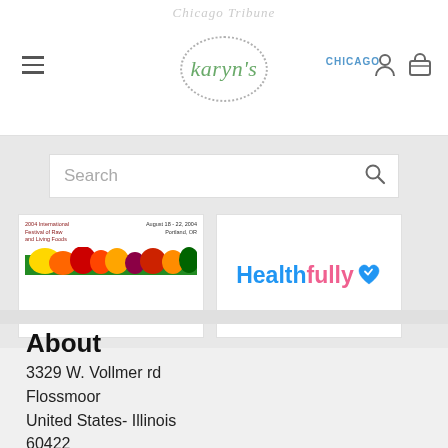karyn's
[Figure (screenshot): Search bar with magnifying glass icon]
[Figure (other): International Festival of Raw and Living Foods card with fruit imagery — August 18-22, 2004, Portland, OR]
[Figure (logo): Healthfully logo with blue heart icon]
About
3329 W. Vollmer rd
Flossmoor
United States- Illinois
60422